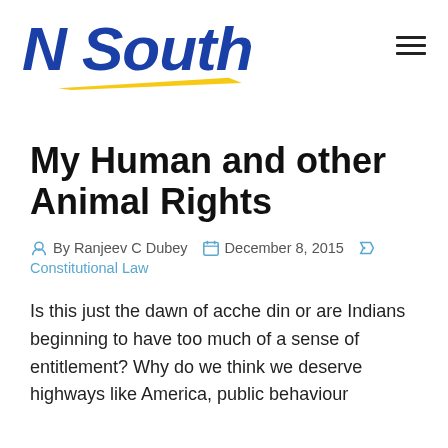[Figure (logo): N South logo in bold italic blue text with yellow swoosh underline]
My Human and other Animal Rights
By Ranjeev C Dubey  December 8, 2015  Constitutional Law
Is this just the dawn of acche din or are Indians beginning to have too much of a sense of entitlement? Why do we think we deserve highways like America, public behaviour